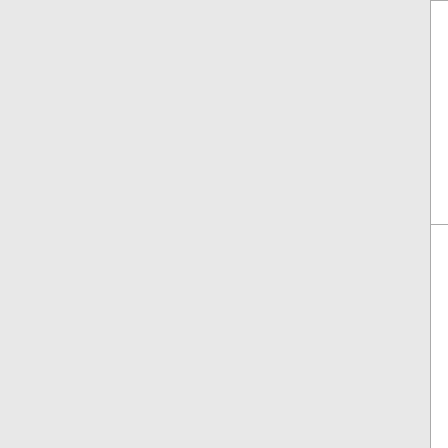| Number | State | Name | Code | ... |
| --- | --- | --- | --- | --- |
| 509-986-0 | WA | CELLCO PARTNERSHIP DBA VERIZON (Verizon Wireless) | 5812 |  |
| 509-986-1 | WA | CELLCO PARTNERSHIP DBA VERIZON (Verizon Wireless) | 5812 |  |
| 509- | WA | CELLCO | 5812 |  |